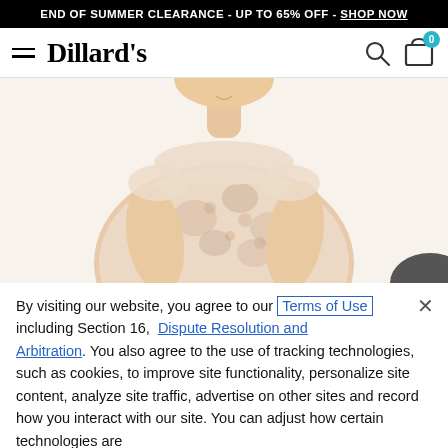END OF SUMMER CLEARANCE - UP TO 65% OFF - SHOP NOW
[Figure (logo): Dillard's logo with hamburger menu icon, search icon, and shopping bag icon with 0 badge]
[Figure (photo): Woman wearing a floral lace cap-sleeve dress in champagne/blush color, shown from neck to waist area]
By visiting our website, you agree to our Terms of Use including Section 16, Dispute Resolution and Arbitration. You also agree to the use of tracking technologies, such as cookies, to improve site functionality, personalize site content, analyze site traffic, advertise on other sites and record how you interact with our site. You can adjust how certain technologies are